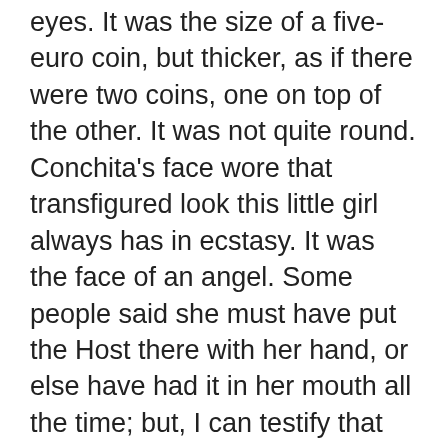eyes. It was the size of a five-euro coin, but thicker, as if there were two coins, one on top of the other. It was not quite round. Conchita's face wore that transfigured look this little girl always has in ecstasy. It was the face of an angel. Some people said she must have put the Host there with her hand, or else have had it in her mouth all the time; but, I can testify that she didn't move her hands, or raise them to her face either; nor did she draw in her tongue before she stuck it out even further...It was without moving it that she received the Host...And everybody who was there must have seen this, just as I did, and there were a lot of us. I didn't believe until that day...I say that, because it's the truth, and for no other reason, because I'm not so Catholic as to let myself be taken in over this. I have never taken any notice of God in the past, except to curse, or else to offend